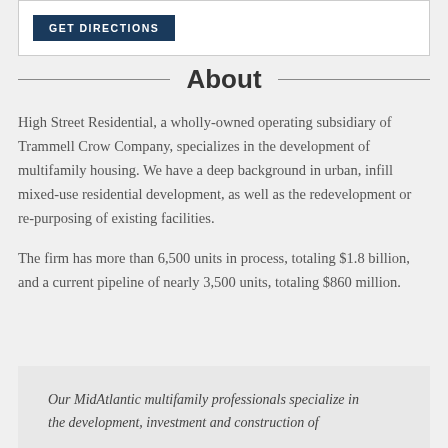[Figure (other): GET DIRECTIONS button in a dark navy box inside a white bordered container]
About
High Street Residential, a wholly-owned operating subsidiary of Trammell Crow Company, specializes in the development of multifamily housing. We have a deep background in urban, infill mixed-use residential development, as well as the redevelopment or re-purposing of existing facilities.
The firm has more than 6,500 units in process, totaling $1.8 billion, and a current pipeline of nearly 3,500 units, totaling $860 million.
Our MidAtlantic multifamily professionals specialize in the development, investment and construction of